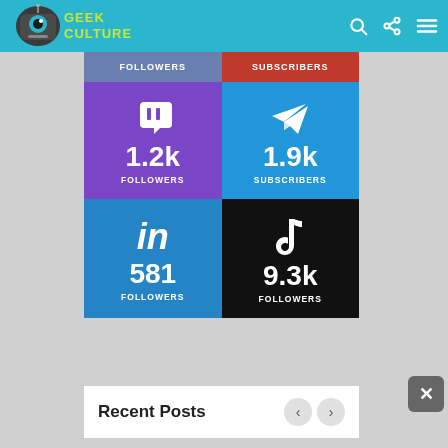Geek Culture
[Figure (infographic): Social media follower/subscriber counts: Twitch 1.2k Followers, Telegram 1.9k Subscribers, LinkedIn 581 Followers, TikTok 9.3k Followers]
Recent Posts